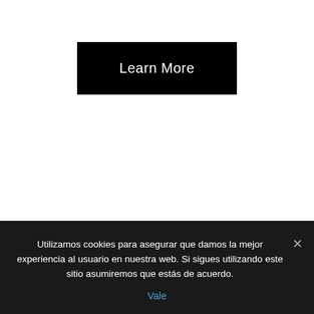[Figure (screenshot): A black 'Learn More' button centered on a white background]
Utilizamos cookies para asegurar que damos la mejor experiencia al usuario en nuestra web. Si sigues utilizando este sitio asumiremos que estás de acuerdo.
Vale